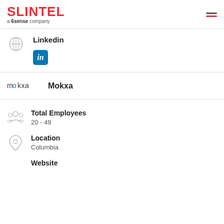SLINTEL a 6sense company
Linkedin
[Figure (logo): LinkedIn icon badge - blue square with white 'in' text]
Mokxa
[Figure (logo): Mokxa company logo text]
Total Employees
20 - 49
Location
Columbia
Website